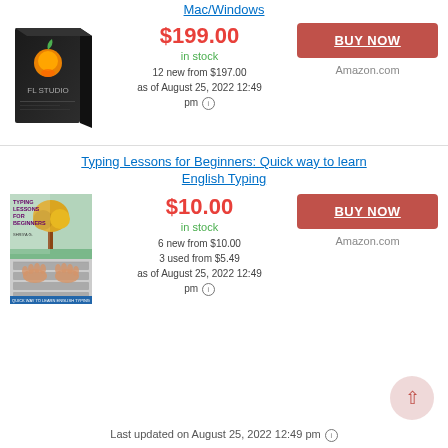Mac/Windows
[Figure (photo): FL Studio software box, black with orange fruit logo]
$199.00
in stock
12 new from $197.00
as of August 25, 2022 12:49 pm
BUY NOW
Amazon.com
Typing Lessons for Beginners: Quick way to learn English Typing
[Figure (photo): Book cover: Typing Lessons for Beginners with keyboard and tree image]
$10.00
in stock
6 new from $10.00
3 used from $5.49
as of August 25, 2022 12:49 pm
BUY NOW
Amazon.com
Last updated on August 25, 2022 12:49 pm